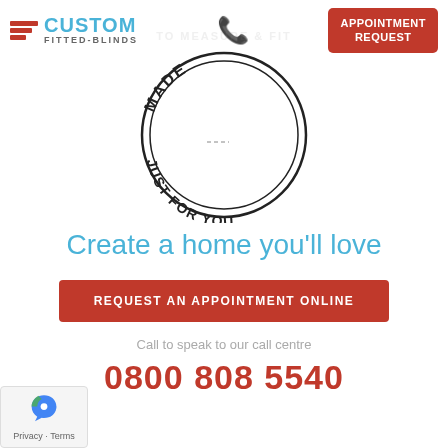[Figure (logo): Custom Fitted-Blinds logo with red horizontal stripes and blue text]
[Figure (illustration): A circular stamp design reading MADE JUST FOR YOU with decorative border]
Create a home you'll love
REQUEST AN APPOINTMENT ONLINE
Call to speak to our call centre
0800 808 5540
[Figure (logo): reCAPTCHA badge with Privacy and Terms links]